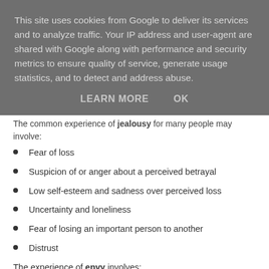This site uses cookies from Google to deliver its services and to analyze traffic. Your IP address and user-agent are shared with Google along with performance and security metrics to ensure quality of service, generate usage statistics, and to detect and address abuse.
LEARN MORE   OK
The common experience of jealousy for many people may involve:
Fear of loss
Suspicion of or anger about a perceived betrayal
Low self-esteem and sadness over perceived loss
Uncertainty and loneliness
Fear of losing an important person to another
Distrust
The experience of envy involves: